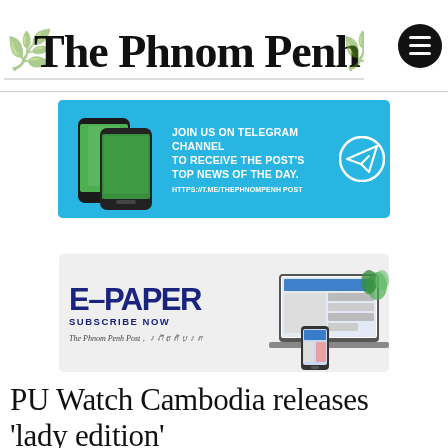The Phnom Penh Post
[Figure (infographic): Cyan/blue banner ad: JOIN US ON TELEGRAM CHANNEL TO RECEIVE THE POST'S TOP NEWS OF THE DAY. HTTPS://T.ME/THEPHNOMPENH POST. Shows phone images on left and a Telegram paper-plane icon on right.]
[Figure (infographic): E-Paper advertisement on light gray background. Large text 'E–PAPER' and 'SUBSCRIBE NOW' in dark navy. The Phnom Penh Post logos in English and Khmer. Right side shows tablet and phone mockups displaying the newspaper.]
PU Watch Cambodia releases 'lady edition'